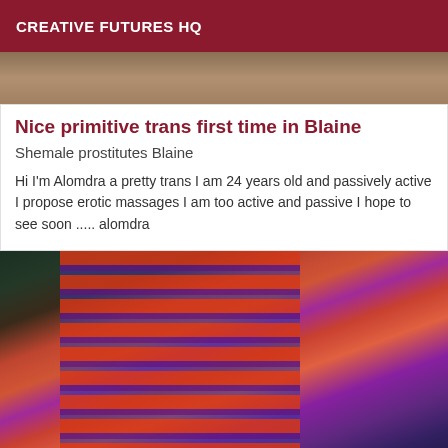CREATIVE FUTURES HQ
[Figure (photo): Top partial image strip, cropped photo background]
Nice primitive trans first time in Blaine
Shemale prostitutes Blaine
Hi I'm Alomdra a pretty trans I am 24 years old and passively active I propose erotic massages I am too active and passive I hope to see soon ..... alomdra
[Figure (photo): Photo of a person in a red and purple striped dress outdoors at night]